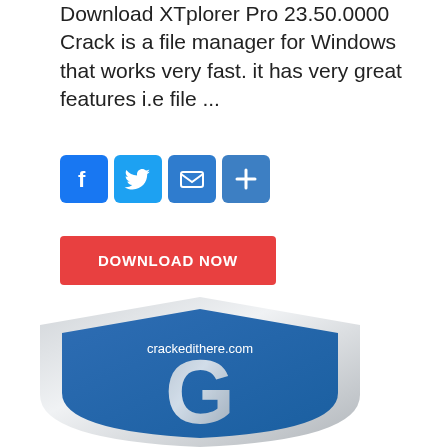Download XTplorer Pro 23.50.0000 Crack is a file manager for Windows that works very fast. it has very great features i.e file ...
[Figure (infographic): Social share buttons: Facebook (blue), Twitter (light blue), Email (blue envelope), Plus/share (blue plus)]
[Figure (illustration): Red Download Now button]
[Figure (logo): Shield logo with blue and silver coloring featuring a large G letter and text 'crackedithere.com']